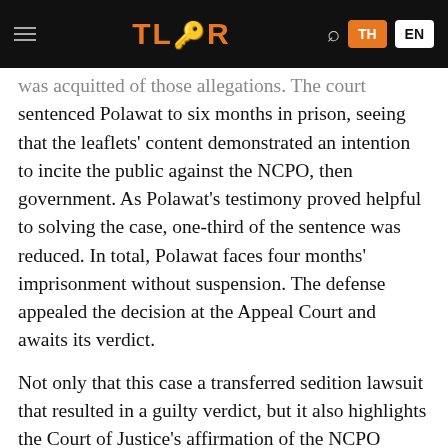TLR — TH EN
was acquitted of those allegations. The court sentenced Polawat to six months in prison, seeing that the leaflets' content demonstrated an intention to incite the public against the NCPO, then government. As Polawat's testimony proved helpful to solving the case, one-third of the sentence was reduced. In total, Polawat faces four months' imprisonment without suspension. The defense appealed the decision at the Appeal Court and awaits its verdict.
Not only that this case a transferred sedition lawsuit that resulted in a guilty verdict, but it also highlights the Court of Justice's affirmation of the NCPO authority long after the dissolution of the coup body.
That Lawyers for Human Rights discerned with...